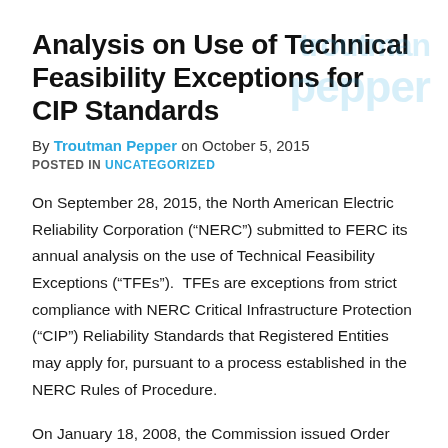Analysis on Use of Technical Feasibility Exceptions for CIP Standards
By Troutman Pepper on October 5, 2015
POSTED IN UNCATEGORIZED
On September 28, 2015, the North American Electric Reliability Corporation (“NERC”) submitted to FERC its annual analysis on the use of Technical Feasibility Exceptions (“TFEs”).  TFEs are exceptions from strict compliance with NERC Critical Infrastructure Protection (“CIP”) Reliability Standards that Registered Entities may apply for, pursuant to a process established in the NERC Rules of Procedure.
On January 18, 2008, the Commission issued Order...